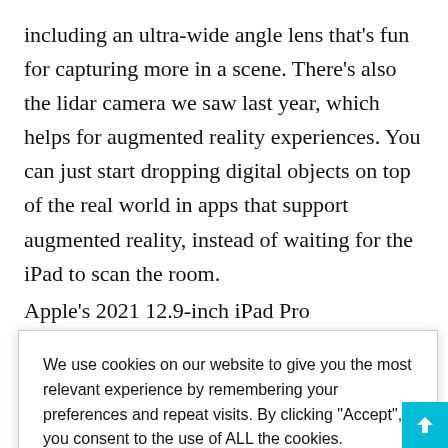including an ultra-wide angle lens that's fun for capturing more in a scene. There's also the lidar camera we saw last year, which helps for augmented reality experiences. You can just start dropping digital objects on top of the real world in apps that support augmented reality, instead of waiting for the iPad to scan the room.
Apple's 2021 12.9-inch iPad Pro
[Figure (screenshot): Cookie consent banner overlay with text 'We use cookies on our website to give you the most relevant experience by remembering your preferences and repeat visits. By clicking "Accept", you consent to the use of ALL the cookies.' with a 'Do not sell my personal information' link, 'Cookie settings' button and green 'ACCEPT' button.]
really useful to nt to use it to n a room, and so ners create 3D real world to
see how they might look in person, too.